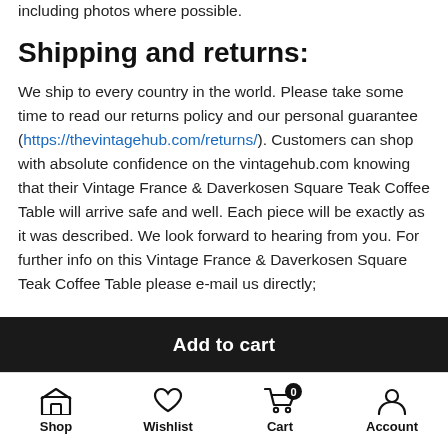including photos where possible.
Shipping and returns:
We ship to every country in the world. Please take some time to read our returns policy and our personal guarantee (https://thevintagehub.com/returns/). Customers can shop with absolute confidence on the vintagehub.com knowing that their Vintage France & Daverkosen Square Teak Coffee Table will arrive safe and well. Each piece will be exactly as it was described. We look forward to hearing from you. For further info on this Vintage France & Daverkosen Square Teak Coffee Table please e-mail us directly;
Add to cart
Shop  Wishlist  Cart  Account